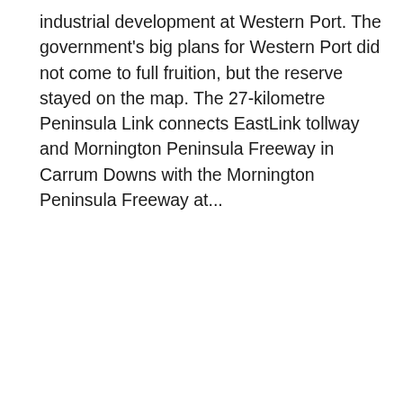industrial development at Western Port. The government's big plans for Western Port did not come to full fruition, but the reserve stayed on the map. The 27-kilometre Peninsula Link connects EastLink tollway and Mornington Peninsula Freeway in Carrum Downs with the Mornington Peninsula Freeway at...